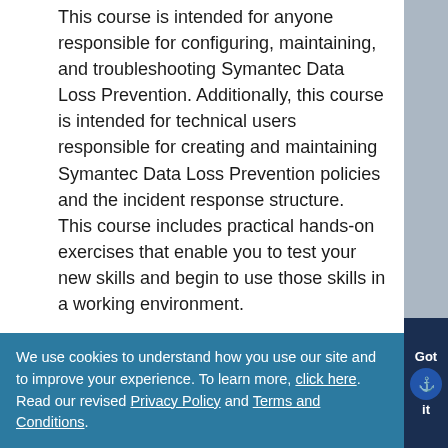This course is intended for anyone responsible for configuring, maintaining, and troubleshooting Symantec Data Loss Prevention. Additionally, this course is intended for technical users responsible for creating and maintaining Symantec Data Loss Prevention policies and the incident response structure.
This course includes practical hands-on exercises that enable you to test your new skills and begin to use those skills in a working environment.
Prerequisites & Audience
You must have a working knowledge of Windows server-class operating systems and commands, as well as networking and network security concepts.
We use cookies to understand how you use our site and to improve your experience. To learn more, click here. Read our revised Privacy Policy and Terms and Conditions.